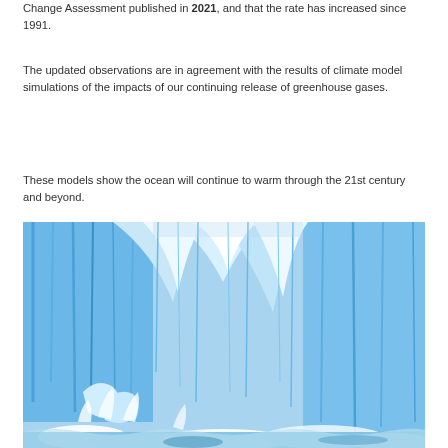Change Assessment published in 2021, and that the rate has increased since 1991.
The updated observations are in agreement with the results of climate model simulations of the impacts of our continuing release of greenhouse gases.
These models show the ocean will continue to warm through the 21st century and beyond.
[Figure (photo): Close-up photograph of a glacier calving, showing large blue-white ice cliffs with chunks of ice and white foam/water at the base.]